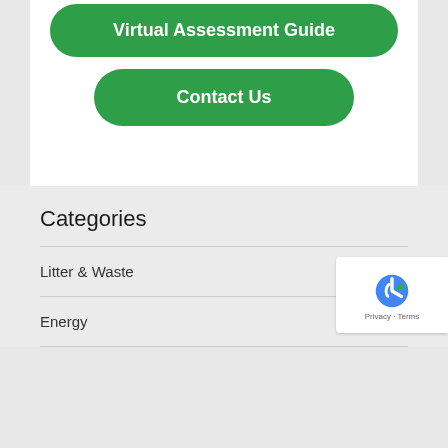[Figure (screenshot): Green rounded button labeled 'Virtual Assessment Guide']
[Figure (screenshot): Green rounded button labeled 'Contact Us']
Categories
Litter & Waste
Energy